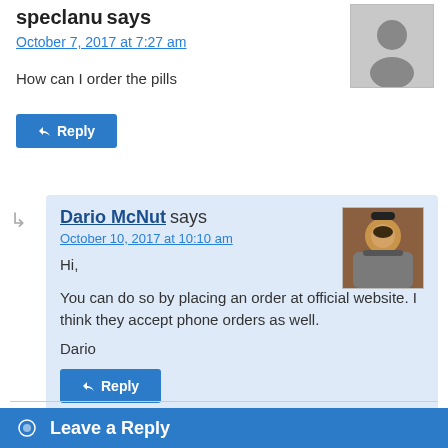speclanu says
October 7, 2017 at 7:27 am
How can I order the pills
↩ Reply
Dario McNut says
October 10, 2017 at 10:10 am
Hi,

You can do so by placing an order at official website. I think they accept phone orders as well.

Dario
↩ Reply
Leave a Reply